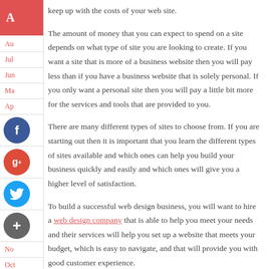keep up with the costs of your web site.
The amount of money that you can expect to spend on a site depends on what type of site you are looking to create. If you want a site that is more of a business website then you will pay less than if you have a business website that is solely personal. If you only want a personal site then you will pay a little bit more for the services and tools that are provided to you.
There are many different types of sites to choose from. If you are starting out then it is important that you learn the different types of sites available and which ones can help you build your business quickly and easily and which ones will give you a higher level of satisfaction.
To build a successful web design business, you will want to hire a web design company that is able to help you meet your needs and their services will help you set up a website that meets your budget, which is easy to navigate, and that will provide you with good customer experience.